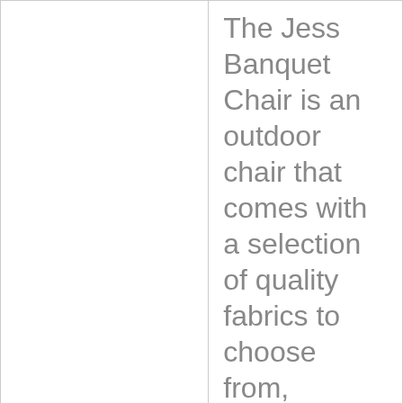| Field | Value |
| --- | --- |
| Short Description 2 | The Jess Banquet Chair is an outdoor chair that comes with a selection of quality fabrics to choose from, allowing it to match the requirements of any space making it suitable for restaurants, bars and hotels which hold frequent events. |
| Brand | BSeated Global |
| Weight Frontend (kg) | 5 |
|  | 84.5 H x 46 W x 55 |